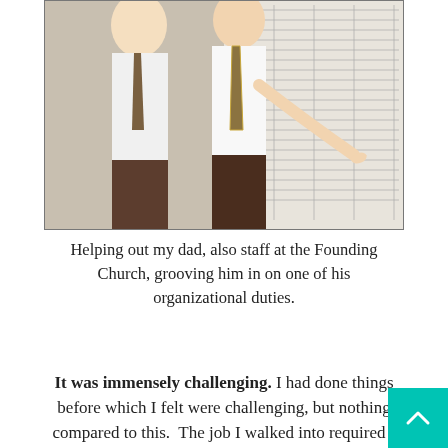[Figure (photo): Two men in white shirts, one pointing at a large organizational chart or schedule mounted on a wall or board.]
Helping out my dad, also staff at the Founding Church, grooving him in on one of his organizational duties.
It was immensely challenging. I had done things before which I felt were challenging, but nothing compared to this.  The job I walked into required I learn how to do virtually every job in the organization, and to understand in detail how each part of the Church contributes to the whole.  As such, it wasn't until I stepped on staff